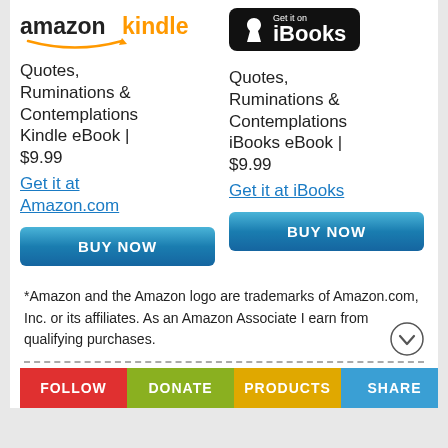[Figure (logo): Amazon Kindle logo with orange smile arrow]
[Figure (logo): Get it on iBooks badge with Apple icon on black background]
Quotes, Ruminations & Contemplations Kindle eBook | $9.99
Get it at Amazon.com
[Figure (other): BUY NOW button (blue gradient)]
Quotes, Ruminations & Contemplations iBooks eBook | $9.99
Get it at iBooks
[Figure (other): BUY NOW button (blue gradient)]
*Amazon and the Amazon logo are trademarks of Amazon.com, Inc. or its affiliates. As an Amazon Associate I earn from qualifying purchases.
[Figure (photo): Book cover image showing Quotes, Ruminations & Contemplations paperback & hardcover by Corey Wayne with blue spine]
FOLLOW   DONATE   PRODUCTS   SHARE